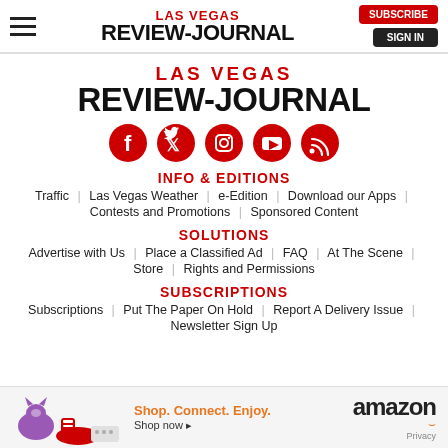LAS VEGAS REVIEW-JOURNAL | SUBSCRIBE | SIGN IN
[Figure (logo): Las Vegas Review-Journal logo — LAS VEGAS in red, REVIEW-JOURNAL in black bold]
[Figure (illustration): Five red circular social media icons: Facebook, Twitter, Instagram, YouTube, RSS]
INFO & EDITIONS
Traffic | Las Vegas Weather | e-Edition | Download our Apps | Contests and Promotions | Sponsored Content
SOLUTIONS
Advertise with Us | Place a Classified Ad | FAQ | At The Scene | Store | Rights and Permissions
SUBSCRIPTIONS
Subscriptions | Put The Paper On Hold | Report A Delivery Issue | Newsletter Sign Up
[Figure (illustration): Amazon advertisement banner: Shop. Connect. Enjoy. Shop now with amazon logo and Privacy text]